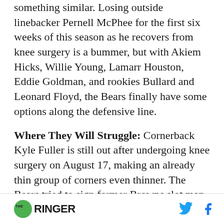something similar. Losing outside linebacker Pernell McPhee for the first six weeks of this season as he recovers from knee surgery is a bummer, but with Akiem Hicks, Willie Young, Lamarr Houston, Eddie Goldman, and rookies Bullard and Leonard Floyd, the Bears finally have some options along the defensive line.
Where They Will Struggle: Cornerback Kyle Fuller is still out after undergoing knee surgery on August 17, making an already thin group of corners even thinner. The Bears tried to sign former Browns slot man K'Waun Williams after he was
THE RINGER